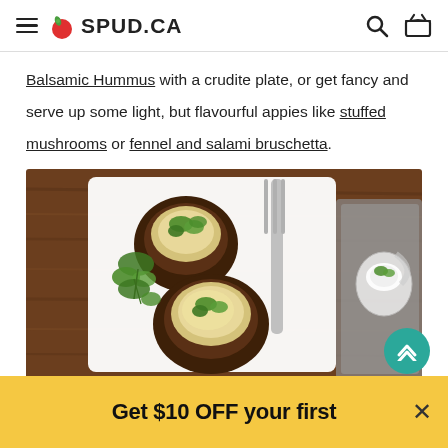SPUD.CA — navigation header with hamburger menu, logo, search and basket icons
Balsamic Hummus with a crudite plate, or get fancy and serve up some light, but flavourful appies like stuffed mushrooms or fennel and salami bruschetta.
[Figure (photo): Overhead photo of two stuffed portobello mushrooms filled with cheese and herbs on a white plate with a silver fork, garnished with fresh parsley, on a wooden surface. To the right, a glass dish with a white filling topped with herbs on a grey napkin.]
The Co
Get $10 OFF your first